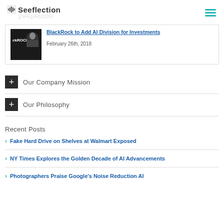Seeflection
[Figure (screenshot): Article card for 'BlackRock to Add AI Division for Investments' dated February 26th, 2018, with BlackRock thumbnail image]
Our Company Mission
Our Philosophy
Recent Posts
Fake Hard Drive on Shelves at Walmart Exposed
NY Times Explores the Golden Decade of AI Advancements
Photographers Praise Google's Noise Reduction AI